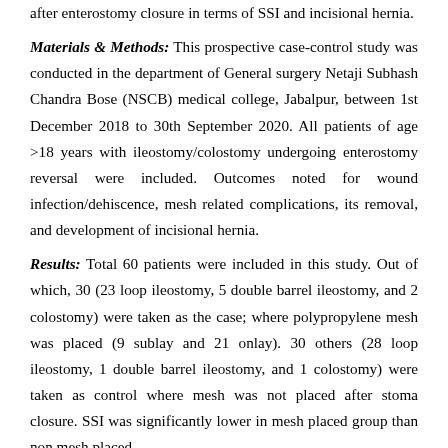after enterostomy closure in terms of SSI and incisional hernia.
Materials & Methods: This prospective case-control study was conducted in the department of General surgery Netaji Subhash Chandra Bose (NSCB) medical college, Jabalpur, between 1st December 2018 to 30th September 2020. All patients of age >18 years with ileostomy/colostomy undergoing enterostomy reversal were included. Outcomes noted for wound infection/dehiscence, mesh related complications, its removal, and development of incisional hernia.
Results: Total 60 patients were included in this study. Out of which, 30 (23 loop ileostomy, 5 double barrel ileostomy, and 2 colostomy) were taken as the case; where polypropylene mesh was placed (9 sublay and 21 onlay). 30 others (28 loop ileostomy, 1 double barrel ileostomy, and 1 colostomy) were taken as control where mesh was not placed after stoma closure. SSI was significantly lower in mesh placed group than non mesh placed